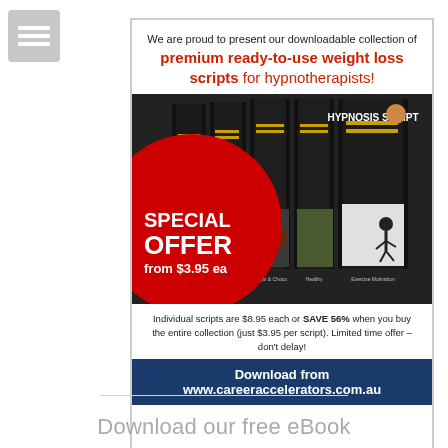[Figure (illustration): Small icon with three white horizontal lines on grey background, top-left corner]
[Figure (infographic): Advertisement for downloadable hypnotherapy weight loss scripts. Shows five dark book covers labeled HYPNOSIS SCRIPT, a red Special Offer circle saying from $3.95 ea, text about saving 56%, and a navy bar with website www.careeraccelerators.com.au]
Download our free eBook